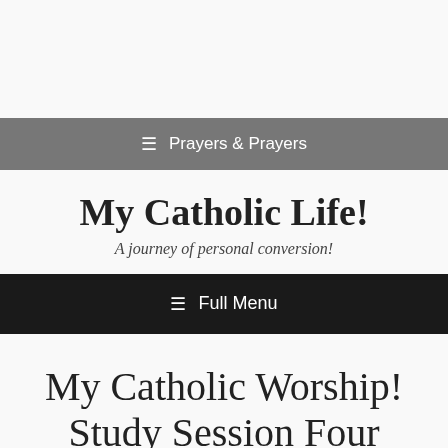≡  Prayers & Prayers
My Catholic Life!
A journey of personal conversion!
≡  Full Menu
My Catholic Worship! Study Session Four